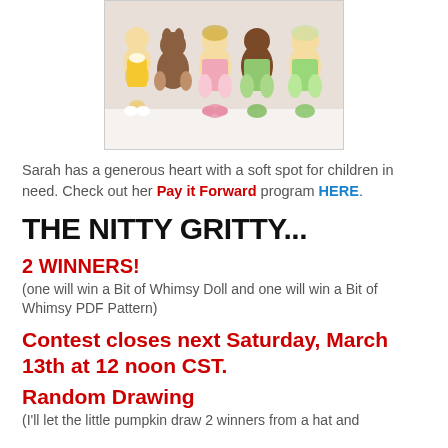[Figure (photo): A row of handmade fabric dolls with soft bodies, wearing colorful dresses in yellow, green, and pink, photographed against a white background.]
Sarah has a generous heart with a soft spot for children in need. Check out her Pay it Forward program HERE.
THE NITTY GRITTY...
2 WINNERS!
(one will win a Bit of Whimsy Doll and one will win a Bit of Whimsy PDF Pattern)
Contest closes next Saturday, March 13th at 12 noon CST.
Random Drawing
(I'll let the little pumpkin draw 2 winners from a hat and